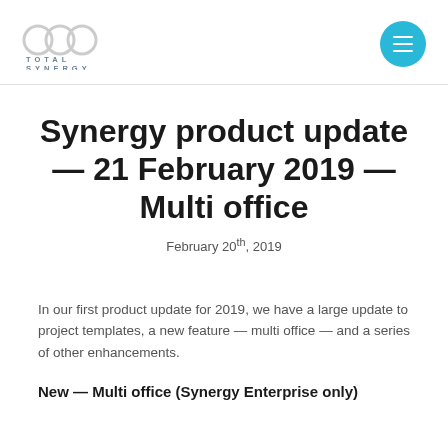Total Synergy logo and navigation menu
Synergy product update — 21 February 2019 — Multi office
February 20th, 2019
In our first product update for 2019, we have a large update to project templates, a new feature — multi office — and a series of other enhancements.
New — Multi office (Synergy Enterprise only)